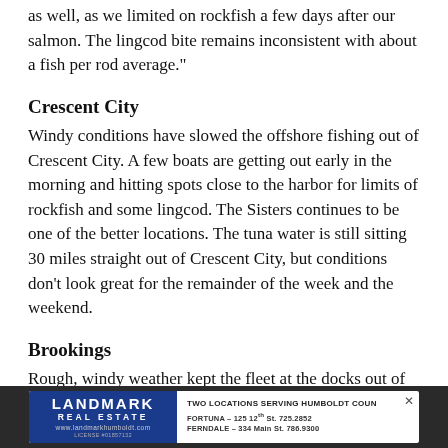as well, as we limited on rockfish a few days after our salmon. The lingcod bite remains inconsistent with about a fish per rod average."
Crescent City
Windy conditions have slowed the offshore fishing out of Crescent City. A few boats are getting out early in the morning and hitting spots close to the harbor for limits of rockfish and some lingcod. The Sisters continues to be one of the better locations. The tuna water is still sitting 30 miles straight out of Crescent City, but conditions don't look great for the remainder of the week and the weekend.
Brookings
Rough, windy weather kept the fleet at the docks out of
[Figure (infographic): Advertisement banner for Landmark Real Estate with logo on left and text 'TWO LOCATIONS SERVING HUMBOLDT COUN' with Fortuna and Ferndale addresses on right]